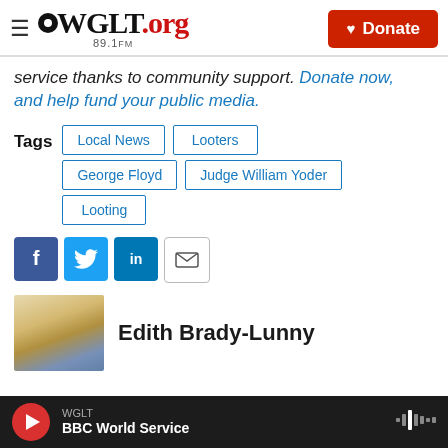WGLT.org 89.1FM — Donate
service thanks to community support. Donate now, and help fund your public media.
Tags: Local News, Looters, George Floyd, Judge William Yoder, Looting
[Figure (other): Social share buttons: Facebook, Twitter, LinkedIn, Email]
[Figure (photo): Photo of Edith Brady-Lunny]
Edith Brady-Lunny
WGLT — BBC World Service (audio player)